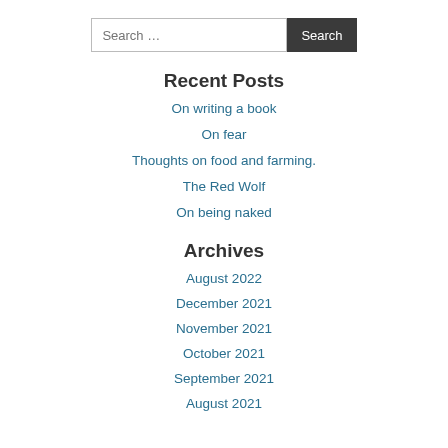Search ...
Recent Posts
On writing a book
On fear
Thoughts on food and farming.
The Red Wolf
On being naked
Archives
August 2022
December 2021
November 2021
October 2021
September 2021
August 2021